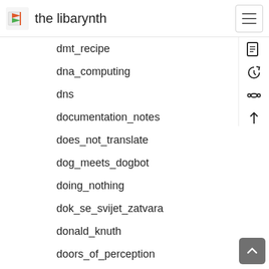the libarynth
dmt_recipe
dna_computing
dns
documentation_notes
does_not_translate
dog_meets_dogbot
doing_nothing
dok_se_svijet_zatvara
donald_knuth
doors_of_perception
dopamine_addiction
dosa_notes
dot_communist_manifesto
dot_file
dot_hack
dot_mac
dougald_hine
dough_and_bread